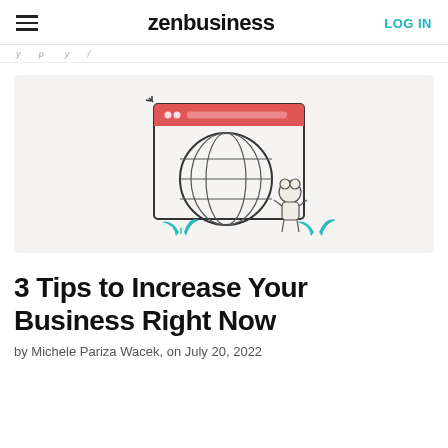zenbusiness  LOG IN
...
[Figure (illustration): Illustration of a globe inside a browser window with a small bear character standing next to it and teal plant decorations on the ground]
3 Tips to Increase Your Business Right Now
by Michele Pariza Wacek, on July 20, 2022